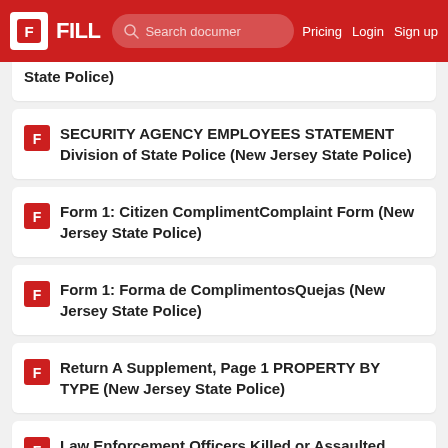FILL | Search documents | Pricing | Login | Sign up
State Police)
SECURITY AGENCY EMPLOYEES STATEMENT Division of State Police (New Jersey State Police)
Form 1: Citizen ComplimentComplaint Form (New Jersey State Police)
Form 1: Forma de ComplimentosQuejas (New Jersey State Police)
Return A Supplement, Page 1 PROPERTY BY TYPE (New Jersey State Police)
Law Enforcement Officers Killed or Assaulted Monthly Supplement (New Jersey State Police)